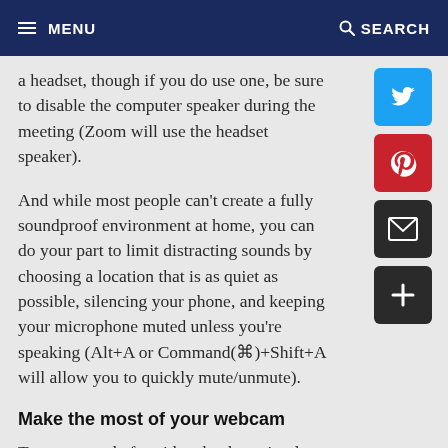MENU   SEARCH
a headset, though if you do use one, be sure to disable the computer speaker during the meeting (Zoom will use the headset speaker).
And while most people can't create a fully soundproof environment at home, you can do your part to limit distracting sounds by choosing a location that is as quiet as possible, silencing your phone, and keeping your microphone muted unless you're speaking (Alt+A or Command(⌘)+Shift+A will allow you to quickly mute/unmute).
Make the most of your webcam
To get an angle for video that best simulates real-world conversation, be sure to position your camera at eye level. A camera angle from below looks too ominous, while a too-high